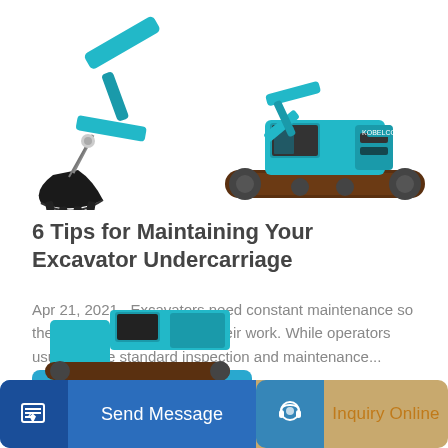[Figure (illustration): Two teal/cyan Kobelco excavators side by side — left shows the bucket arm close-up, right shows the full excavator on tracks]
6 Tips for Maintaining Your Excavator Undercarriage
Apr 21, 2021 · Excavators need constant maintenance so they can optimally perform their work. While operators usually have standard inspection and maintenance...
Learn More
[Figure (illustration): Partial view of teal excavator equipment visible below the main article section]
Send Message | Inquiry Online